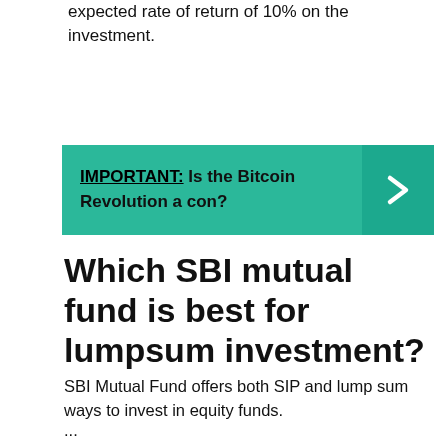expected rate of return of 10% on the investment.
[Figure (infographic): Teal banner with bold text: IMPORTANT: Is the Bitcoin Revolution a con? with a right-arrow chevron on the right side in a darker teal box.]
Which SBI mutual fund is best for lumpsum investment?
SBI Mutual Fund offers both SIP and lump sum ways to invest in equity funds.
...
SBI Technology Opportunities Fund.
SBI Magnum COMMA Fund.
SBI Small Cap Fund.